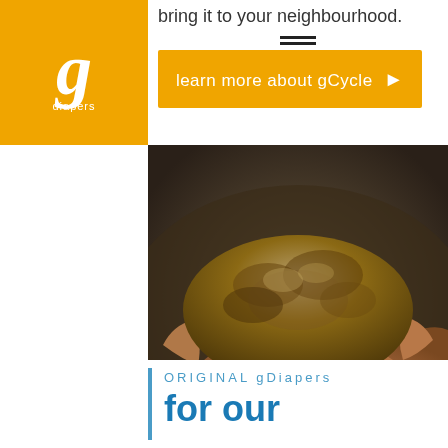bring it to your neighbourhood.
[Figure (logo): gDiapers logo: lowercase italic g in white on orange/yellow background, with 'diapers' text below]
learn more about gCycle ▶
[Figure (photo): Two hands cupping a mound of dark soil/compost, with dust particles falling, on a dark background]
ORIGINAL gDiapers
for our